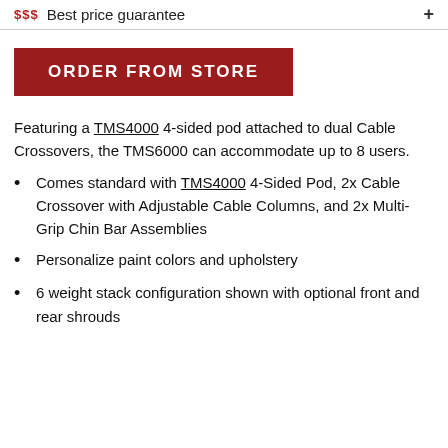$$$ Best price guarantee +
ORDER FROM STORE
Featuring a TMS4000 4-sided pod attached to dual Cable Crossovers, the TMS6000 can accommodate up to 8 users.
Comes standard with TMS4000 4-Sided Pod, 2x Cable Crossover with Adjustable Cable Columns, and 2x Multi-Grip Chin Bar Assemblies
Personalize paint colors and upholstery
6 weight stack configuration shown with optional front and rear shrouds